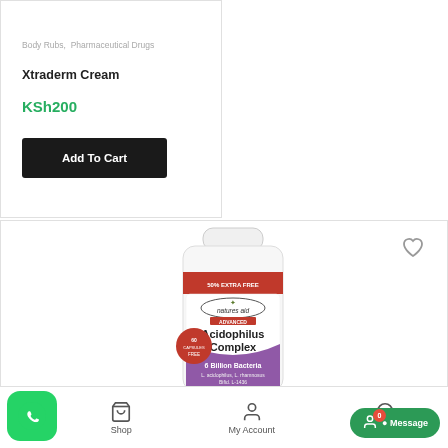Body Rubs, Pharmaceutical Drugs
Xtraderm Cream
KSh200
Add To Cart
[Figure (photo): Natures Aid Advanced Acidophilus Complex supplement bottle, 180 capsules, with red banner reading 50% Extra Free, purple and white label, featuring 6 Billion Bacteria, L. acidophilus, L. rhamnosus, Bifid. L-1436, Dairy Free. 60 Capsules Free sticker on left side.]
Shop  My Account  Search  Message